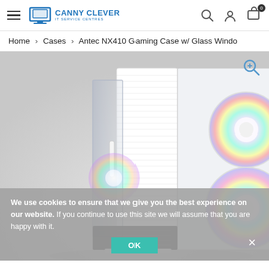Canny Clever IT Service Centres — navigation header with hamburger menu, logo, search, account, and cart icons
Home > Cases > Antec NX410 Gaming Case w/ Glass Windo
[Figure (photo): Antec NX410 Gaming PC case in white with tempered glass side panel and RGB fans visible through the mesh front panel, displayed on a light grey gradient background.]
We use cookies to ensure that we give you the best experience on our website. If you continue to use this site we will assume that you are happy with it.
OK